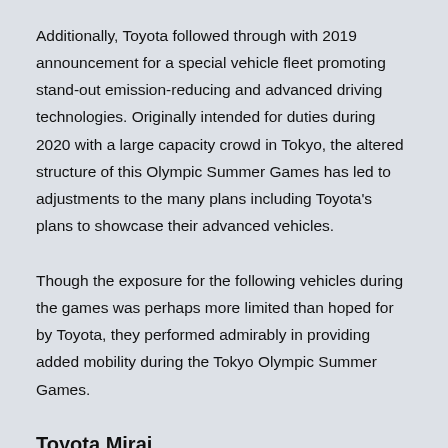Additionally, Toyota followed through with 2019 announcement for a special vehicle fleet promoting stand-out emission-reducing and advanced driving technologies. Originally intended for duties during 2020 with a large capacity crowd in Tokyo, the altered structure of this Olympic Summer Games has led to adjustments to the many plans including Toyota's plans to showcase their advanced vehicles.
Though the exposure for the following vehicles during the games was perhaps more limited than hoped for by Toyota, they performed admirably in providing added mobility during the Tokyo Olympic Summer Games.
Toyota Mirai